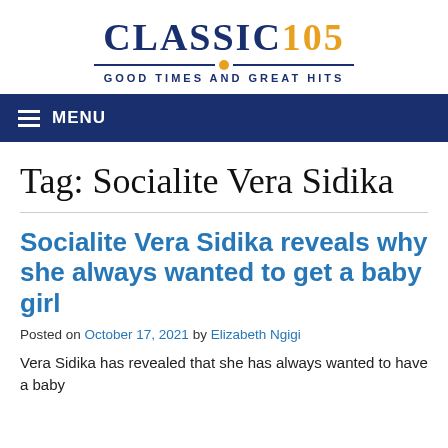[Figure (logo): Classic 105 radio station logo with tagline GOOD TIMES AND GREAT HITS]
MENU
Tag: Socialite Vera Sidika
Socialite Vera Sidika reveals why she always wanted to get a baby girl
Posted on October 17, 2021 by Elizabeth Ngigi
Vera Sidika has revealed that she has always wanted to have a baby